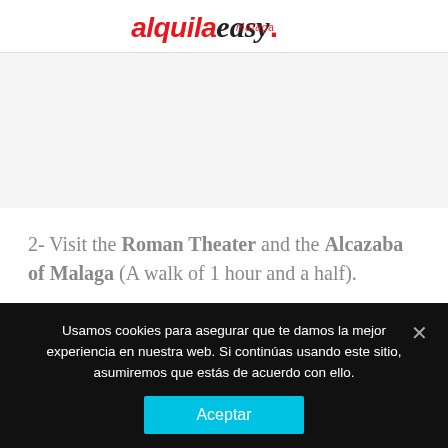[Figure (logo): alquilaeasy. malaga logo with red italic text for 'alquila', cursive black text for 'easy', red dot, and small red italic 'malaga' subtitle]
2- Visit the Roman Theater and the Alcazaba of Malaga (A walk of 1 hour and a half).
Usamos cookies para asegurar que te damos la mejor experiencia en nuestra web. Si continúas usando este sitio, asumiremos que estás de acuerdo con ello.
Aceptar